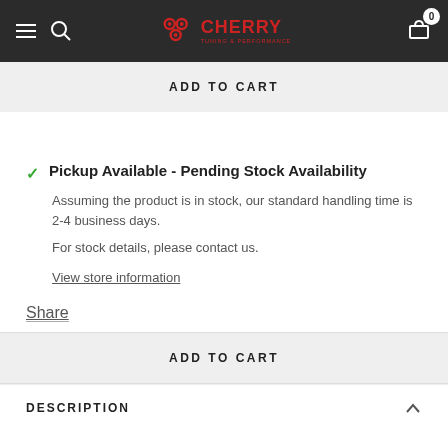Cherry Tuning & Performance — navigation header
ADD TO CART
Pickup Available - Pending Stock Availability
Assuming the product is in stock, our standard handling time is 2-4 business days.
For stock details, please contact us.
View store information
Share
ADD TO CART
DESCRIPTION